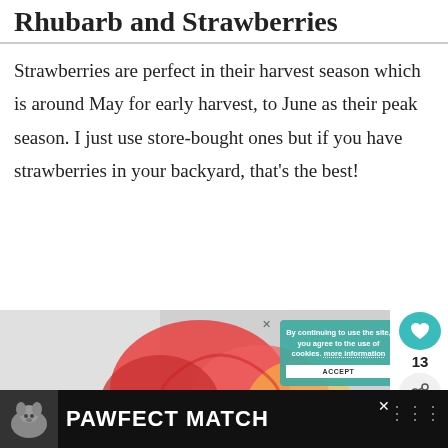Rhubarb and Strawberries
Strawberries are perfect in their harvest season which is around May for early harvest, to June as their peak season. I just use store-bought ones but if you have strawberries in your backyard, that’s the best!
[Figure (photo): Photo of rhubarb and strawberries dessert with cookie consent overlay and social share buttons visible]
[Figure (infographic): Bottom advertisement bar with dog image and Pawfect Match text on black background]